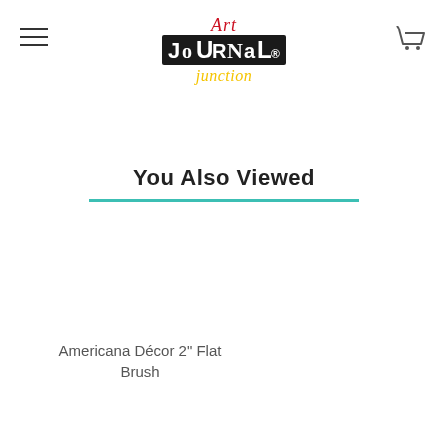[Figure (logo): Art Journal Junction logo with stylized text: 'Art' in red script at top, 'JOURNAL' in bold black collage letters in the middle, 'junction' in yellow script below]
You Also Viewed
Americana Décor 2" Flat Brush